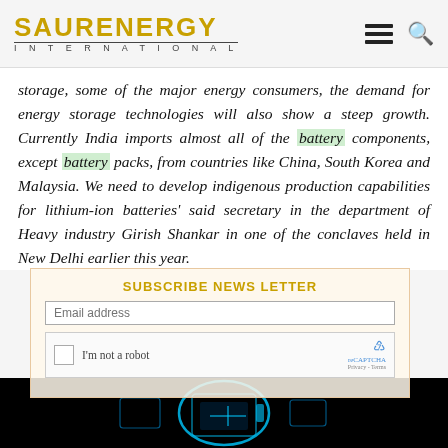SAUR ENERGY INTERNATIONAL
storage, some of the major energy consumers, the demand for energy storage technologies will also show a steep growth. Currently India imports almost all of the battery components, except battery packs, from countries like China, South Korea and Malaysia. We need to develop indigenous production capabilities for lithium-ion batteries' said secretary in the department of Heavy industry Girish Shankar in one of the conclaves held in New Delhi earlier this year.
[Figure (screenshot): Subscribe newsletter overlay with email input and reCAPTCHA widget]
[Figure (photo): Dark image of glowing blue battery/energy technology graphic at bottom of page]